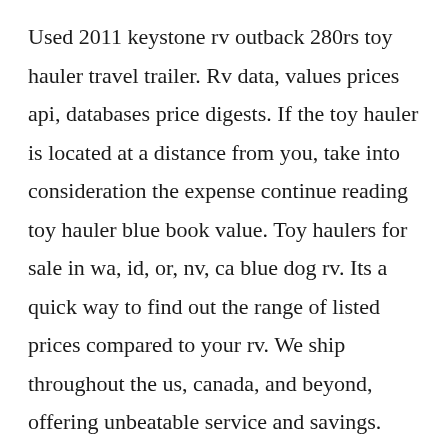Used 2011 keystone rv outback 280rs toy hauler travel trailer. Rv data, values prices api, databases price digests. If the toy hauler is located at a distance from you, take into consideration the expense continue reading toy hauler blue book value. Toy haulers for sale in wa, id, or, nv, ca blue dog rv. Its a quick way to find out the range of listed prices compared to your rv. We ship throughout the us, canada, and beyond, offering unbeatable service and savings.
You also have the option of adding a second